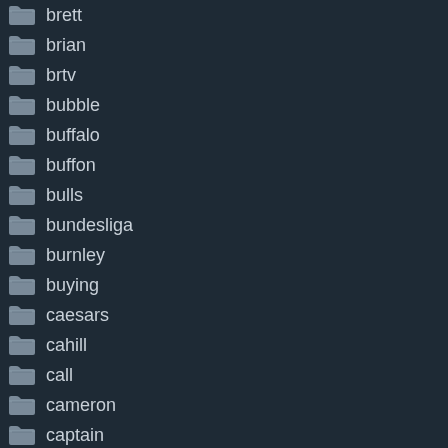brett
brian
brtv
bubble
buffalo
buffon
bulls
bundesliga
burnley
buying
caesars
cahill
call
cameron
captain
carli
carlos
carson